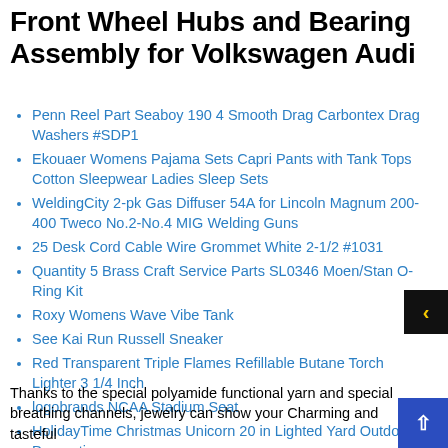Front Wheel Hubs and Bearing Assembly for Volkswagen Audi
Penn Reel Part Seaboy 190 4 Smooth Drag Carbontex Drag Washers #SDP1
Ekouaer Womens Pajama Sets Capri Pants with Tank Tops Cotton Sleepwear Ladies Sleep Sets
WeldingCity 2-pk Gas Diffuser 54A for Lincoln Magnum 200-400 Tweco No.2-No.4 MIG Welding Guns
25 Desk Cord Cable Wire Grommet White 2-1/2 #1031
Quantity 5 Brass Craft Service Parts SL0346 Moen/Stan O-Ring Kit
Roxy Womens Wave Vibe Tank
See Kai Run Russell Sneaker
Red Transparent Triple Flames Refillable Butane Torch Lighter 3 1/4 Inch
logobrands NCAA Stadium Seat
HolidayTime Christmas Unicorn 20 in Lighted Yard Outdoor Decoration
Thanks to the special polyamide functional yarn and special breathing channels, jewelry can show your Charming and tasteful